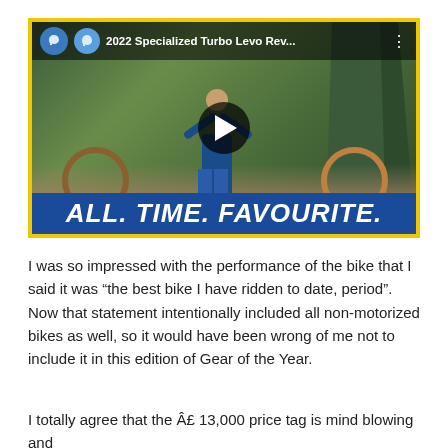[Figure (screenshot): YouTube video thumbnail for '2022 Specialized Turbo Levo Rev...' showing a mountain biker in a forest with arms raised, standing next to a yellow mountain bike. A play button is centered on the image. At the bottom, a blue banner reads 'ALL. TIME. FAVOURITE.' in bold italic white text. The video player has a yellow border and shows two circular channel logos and the video title in the top bar.]
I was so impressed with the performance of the bike that I said it was “the best bike I have ridden to date, period”. Now that statement intentionally included all non-motorized bikes as well, so it would have been wrong of me not to include it in this edition of Gear of the Year.
I totally agree that the Â£ 13,000 price tag is mind blowing and